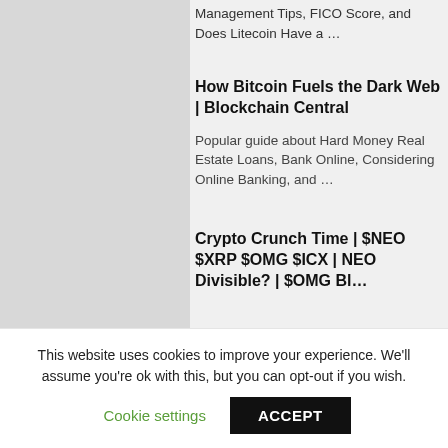Management Tips, FICO Score, and Does Litecoin Have a …
How Bitcoin Fuels the Dark Web | Blockchain Central
Popular guide about Hard Money Real Estate Loans, Bank Online, Considering Online Banking, and …
Crypto Crunch Time | $NEO $XRP $OMG $ICX | NEO Divisible? | $OMG Bl…
This website uses cookies to improve your experience. We'll assume you're ok with this, but you can opt-out if you wish.